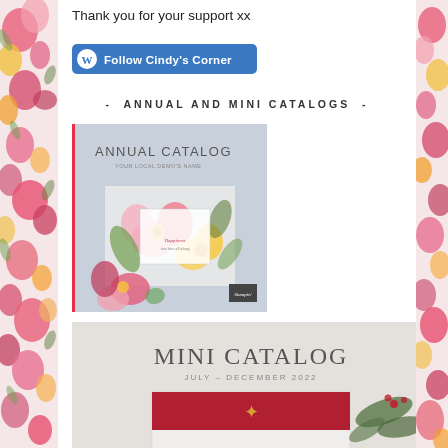Thank you for your support xx
[Figure (illustration): WordPress Follow button for Cindy's Corner blog, blue rounded rectangle with WordPress logo and white bold text]
- ANNUAL AND MINI CATALOGS -
[Figure (photo): Annual Catalog cover showing floral arrangement with pink, yellow and orange flowers on a grey background with a greeting card]
[Figure (photo): Mini Catalog July-December 2022 cover showing a red poinsettia/Christmas themed design with pine branches]